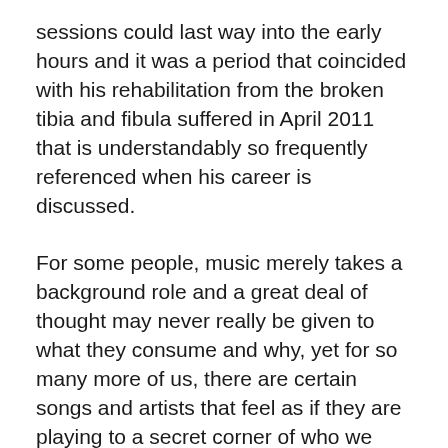sessions could last way into the early hours and it was a period that coincided with his rehabilitation from the broken tibia and fibula suffered in April 2011 that is understandably so frequently referenced when his career is discussed.
For some people, music merely takes a background role and a great deal of thought may never really be given to what they consume and why, yet for so many more of us, there are certain songs and artists that feel as if they are playing to a secret corner of who we are. Steve's field of listening is relatively vast, although he explains why his memory bank is pre-set to frequencies of underground nostalgia.
“Number one is grime, just because when I was growing up, that was the music I listened to mostly. I